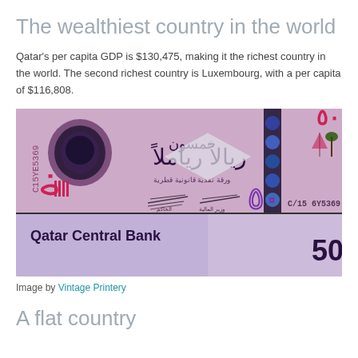The wealthiest country in the world
Qatar's per capita GDP is $130,475, making it the richest country in the world.  The second richest country is Luxembourg, with a per capita of $116,808.
[Figure (photo): A Qatari 50 riyal banknote showing the front and back of the note, with Arabic text reading 'fifty riyals', holographic security features, the Qatar Central Bank name, and serial number C/15 6Y5369.]
Image by Vintage Printery
A flat country